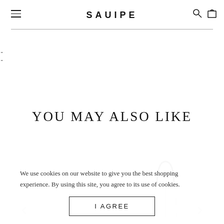SAUIPE
YOU MAY ALSO LIKE
[Figure (illustration): Partial view of a white tote bag with a black handle visible at the top center of the product area]
We use cookies on our website to give you the best shopping experience. By using this site, you agree to its use of cookies.
I AGREE